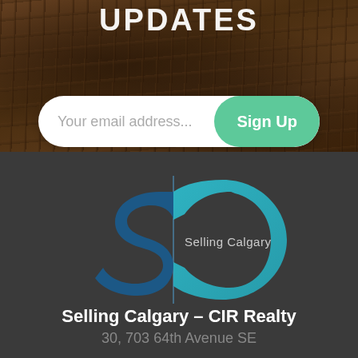UPDATES
[Figure (screenshot): Email sign-up form with placeholder text 'Your email address...' and a green 'Sign Up' button]
[Figure (logo): Selling Calgary logo — stylized 'S' and 'C' letters in blue/teal with 'Selling Calgary' text]
Selling Calgary – CIR Realty
30, 703 64th Avenue SE